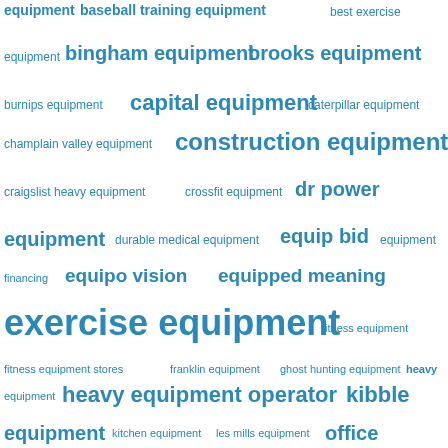[Figure (infographic): A word cloud of equipment-related search terms in various font sizes, all in blue color on white background. Larger words appear more frequently or are more important. Terms include: equipment, baseball training equipment, best exercise, bingham equipment, brooks equipment, burnips equipment, capital equipment, caterpillar equipment, champlain valley equipment, construction equipment, craigslist heavy equipment, crossfit equipment, dr power equipment, durable medical equipment, equip bid, equipment financing, equipo vision, equipped meaning, exercise equipment, fitness equipment, fitness equipment stores, franklin equipment, ghost hunting equipment, heavy equipment, heavy equipment operator, kibble equipment, kitchen equipment, les mills equipment, office]